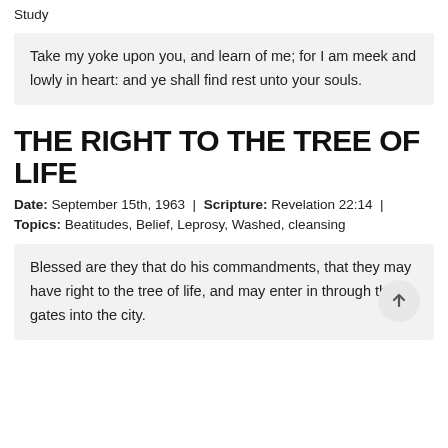Study
Take my yoke upon you, and learn of me; for I am meek and lowly in heart: and ye shall find rest unto your souls.
THE RIGHT TO THE TREE OF LIFE
Date: September 15th, 1963  |  Scripture: Revelation 22:14  |  Topics: Beatitudes, Belief, Leprosy, Washed, cleansing
Blessed are they that do his commandments, that they may have right to the tree of life, and may enter in through the gates into the city.